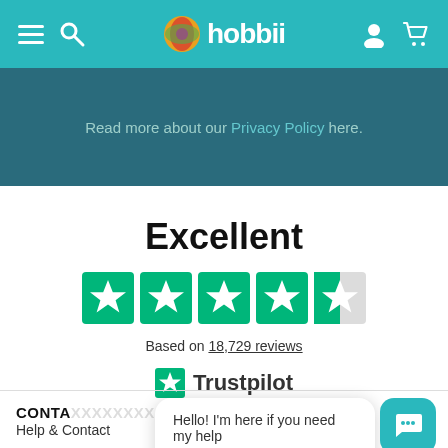[Figure (screenshot): Hobbii website header bar with teal background, hamburger menu, search icon, Hobbii logo with colorful yarn ball, user account icon, and shopping cart icon.]
Read more about our Privacy Policy here.
Excellent
[Figure (other): Trustpilot rating: 4.5 out of 5 stars (green stars with last star half-filled). Based on 18,729 reviews. Trustpilot logo.]
Based on 18,729 reviews
CONTA...
Help & Contact
Hello! I'm here if you need my help 😊